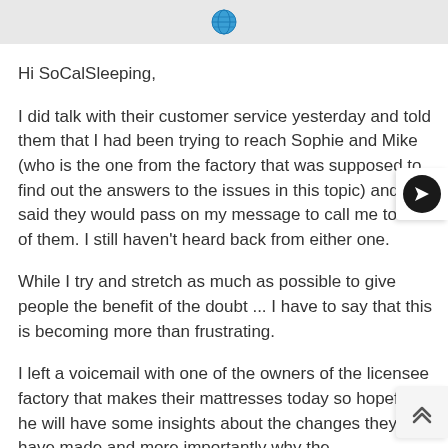[Figure (screenshot): Top navigation bar with globe/world icon in center on light gray background]
Hi SoCalSleeping,
I did talk with their customer service yesterday and told them that I had been trying to reach Sophie and Mike (who is the one from the factory that was supposed to find out the answers to the issues in this topic) and they said they would pass on my message to call me to both of them. I still haven't heard back from either one.
While I try and stretch as much as possible to give people the benefit of the doubt ... I have to say that this is becoming more than frustrating.
I left a voicemail with one of the owners of the licensee factory that makes their mattresses today so hopefully he will have some insights about the changes they have made and more importantly why the communication has been so poor.